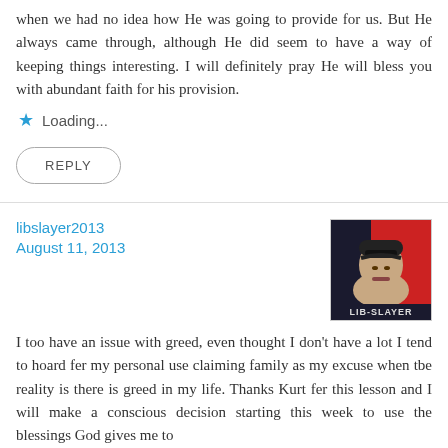when we had no idea how He was going to provide for us. But He always came through, although He did seem to have a way of keeping things interesting. I will definitely pray He will bless you with abundant faith for his provision.
Loading...
REPLY
libslayer2013
August 11, 2013
[Figure (photo): Avatar image for user libslayer2013 showing a person with a LIB-SLAYER label at the bottom against a red and dark background]
I too have an issue with greed, even thought I don't have a lot I tend to hoard fer my personal use claiming family as my excuse when tbe reality is there is greed in my life. Thanks Kurt fer this lesson and I will make a conscious decision starting this week to use the blessings God gives me to